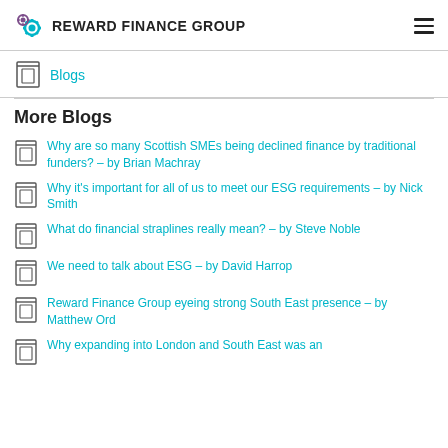REWARD FINANCE GROUP
Blogs
More Blogs
Why are so many Scottish SMEs being declined finance by traditional funders? – by Brian Machray
Why it's important for all of us to meet our ESG requirements – by Nick Smith
What do financial straplines really mean? – by Steve Noble
We need to talk about ESG – by David Harrop
Reward Finance Group eyeing strong South East presence – by Matthew Ord
Why expanding into London and South East was an